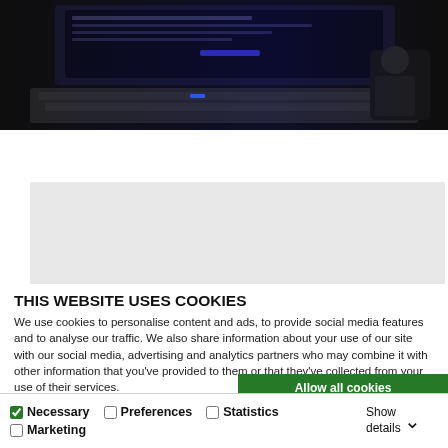[Figure (screenshot): Partial screenshot of a dark-themed website showing keyboard/computer hardware with blue accent lighting.]
How to Install Delphi Trim Code
[Figure (screenshot): Grey placeholder/loading area below the title.]
THIS WEBSITE USES COOKIES
We use cookies to personalise content and ads, to provide social media features and to analyse our traffic. We also share information about your use of our site with our social media, advertising and analytics partners who may combine it with other information that you've provided to them or that they've collected from your use of their services.
Allow all cookies
Allow selection
Use necessary cookies only
Necessary  Preferences  Statistics  Marketing  Show details